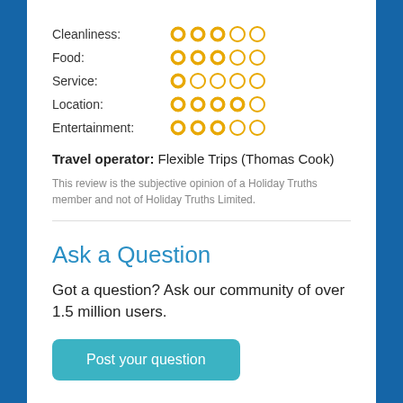| Category | Rating |
| --- | --- |
| Cleanliness: | 3/5 |
| Food: | 3/5 |
| Service: | 1/5 |
| Location: | 4/5 |
| Entertainment: | 3/5 |
Travel operator: Flexible Trips (Thomas Cook)
This review is the subjective opinion of a Holiday Truths member and not of Holiday Truths Limited.
Ask a Question
Got a question? Ask our community of over 1.5 million users.
Post your question